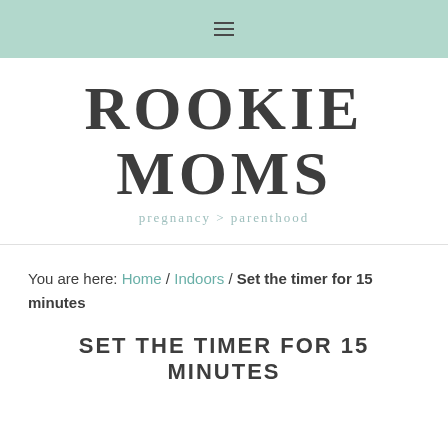≡
[Figure (logo): Rookie Moms logo with text 'ROOKIE MOMS' in large serif font and tagline 'pregnancy > parenthood']
You are here: Home / Indoors / Set the timer for 15 minutes
SET THE TIMER FOR 15 MINUTES